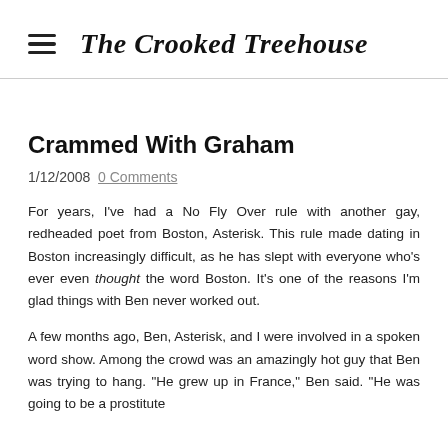The Crooked Treehouse
Crammed With Graham
1/12/2008  0 Comments
For years, I've had a No Fly Over rule with another gay, redheaded poet from Boston, Asterisk. This rule made dating in Boston increasingly difficult, as he has slept with everyone who's ever even thought the word Boston. It's one of the reasons I'm glad things with Ben never worked out.
A few months ago, Ben, Asterisk, and I were involved in a spoken word show. Among the crowd was an amazingly hot guy that Ben was trying to hang. "He grew up in France," Ben said. "He was going to be a prostitute